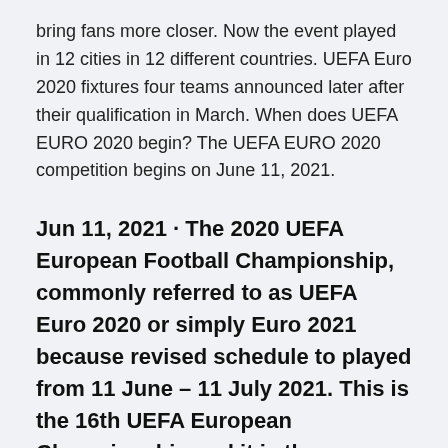bring fans more closer. Now the event played in 12 cities in 12 different countries. UEFA Euro 2020 fixtures four teams announced later after their qualification in March. When does UEFA EURO 2020 begin? The UEFA EURO 2020 competition begins on June 11, 2021.
Jun 11, 2021 · The 2020 UEFA European Football Championship, commonly referred to as UEFA Euro 2020 or simply Euro 2021 because revised schedule to played from 11 June – 11 July 2021. This is the 16th UEFA European Championship and it is the quadrennial international